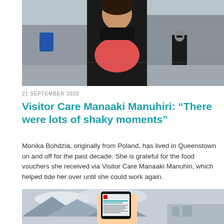[Figure (photo): Person wearing black jacket and red top standing on a street in Queenstown, New Zealand. Another person in black visible in the background.]
21 SEPTEMBER 2020
Visitor Care Manaaki Manuhiri: “There were lots of shaky moments”
Monika Bohdzia, originally from Poland, has lived in Queenstown on and off for the past decade. She is grateful for the food vouchers she received via Visitor Care Manaaki Manuhiri, which helped tide her over until she could work again.
[Figure (photo): Hand holding a smartphone showing the Visitor Care Manaaki Manuhiri webpage, with mountains and a building visible in the background.]